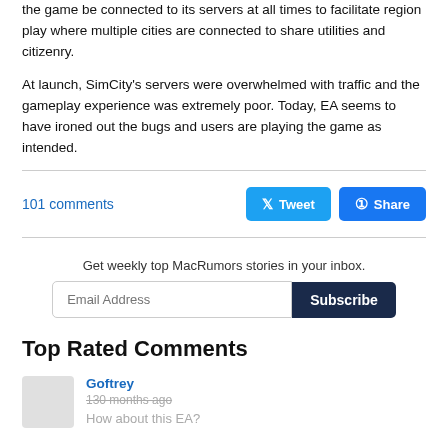the game be connected to its servers at all times to facilitate region play where multiple cities are connected to share utilities and citizenry.
At launch, SimCity's servers were overwhelmed with traffic and the gameplay experience was extremely poor. Today, EA seems to have ironed out the bugs and users are playing the game as intended.
101 comments
Tweet  Share
Get weekly top MacRumors stories in your inbox.
Top Rated Comments
Goftrey
130 months ago
How about this EA?